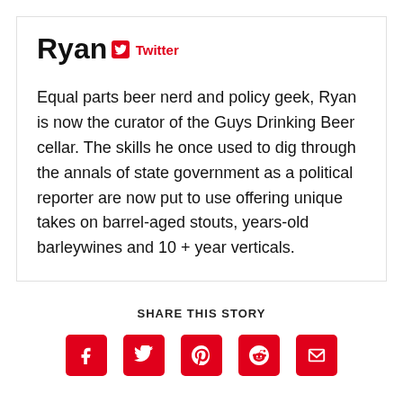Ryan
Twitter
Equal parts beer nerd and policy geek, Ryan is now the curator of the Guys Drinking Beer cellar. The skills he once used to dig through the annals of state government as a political reporter are now put to use offering unique takes on barrel-aged stouts, years-old barleywines and 10 + year verticals.
SHARE THIS STORY
[Figure (infographic): Row of five red social share icon buttons: Facebook, Twitter, Pinterest, Reddit, Email]